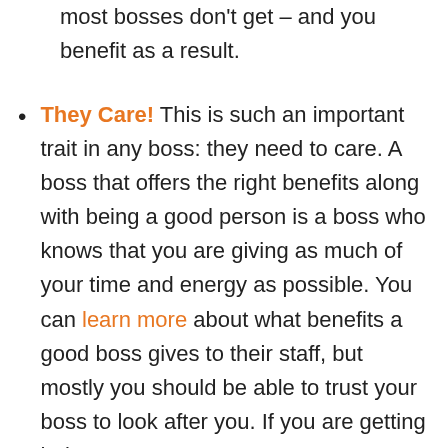most bosses don't get – and you benefit as a result.
They Care! This is such an important trait in any boss: they need to care. A boss that offers the right benefits along with being a good person is a boss who knows that you are giving as much of your time and energy as possible. You can learn more about what benefits a good boss gives to their staff, but mostly you should be able to trust your boss to look after you. If you are getting help